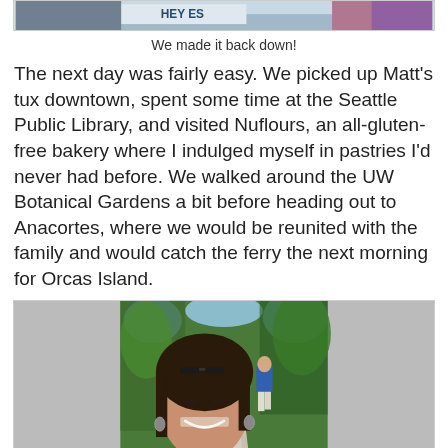[Figure (photo): Top portion of a photo showing people outdoors, partially cropped, with a banner/sign visible]
We made it back down!
The next day was fairly easy. We picked up Matt's tux downtown, spent some time at the Seattle Public Library, and visited Nuflours, an all-gluten-free bakery where I indulged myself in pastries I'd never had before. We walked around the UW Botanical Gardens a bit before heading out to Anacortes, where we would be reunited with the family and would catch the ferry the next morning for Orcas Island.
[Figure (photo): A woman with dark hair and sunglasses on her head smiling at the camera in the foreground, with a man in a blue shirt walking away on a path through green trees in the background]